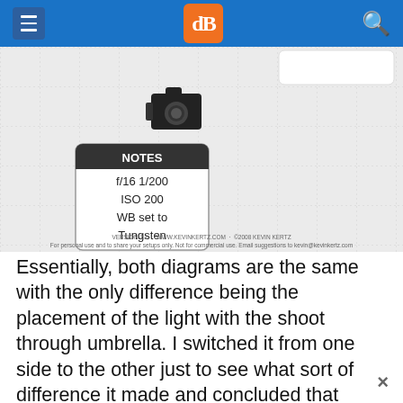[Figure (screenshot): Website navigation bar with hamburger menu icon on left, orange dPS logo in center, and search icon on right, on blue background]
[Figure (schematic): Photography lighting diagram on gray grid background showing a camera icon and a NOTES box with settings: f/16 1/200, ISO 200, WB set to Tungsten. Version 1.1 credit line and copyright text at bottom.]
Essentially, both diagrams are the same with the only difference being the placement of the light with the shoot through umbrella. I switched it from one side to the other just to see what sort of difference it made and concluded that both